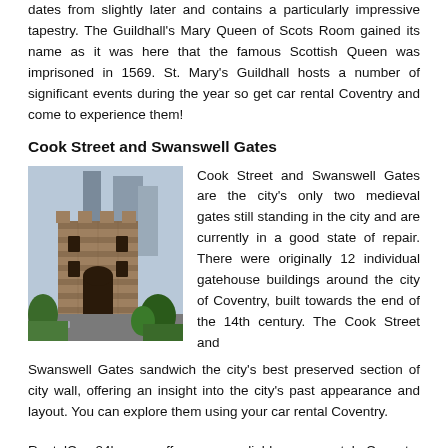dates from slightly later and contains a particularly impressive tapestry. The Guildhall's Mary Queen of Scots Room gained its name as it was here that the famous Scottish Queen was imprisoned in 1569. St. Mary's Guildhall hosts a number of significant events during the year so get car rental Coventry and come to experience them!
Cook Street and Swanswell Gates
[Figure (photo): Aerial or elevated view of Cook Street Gate, a medieval stone gatehouse tower in Coventry, with modern city buildings visible in the background and trees/greenery at the base.]
Cook Street and Swanswell Gates are the city's only two medieval gates still standing in the city and are currently in a good state of repair. There were originally 12 individual gatehouse buildings around the city of Coventry, built towards the end of the 14th century. The Cook Street and Swanswell Gates sandwich the city's best preserved section of city wall, offering an insight into the city's past appearance and layout. You can explore them using your car rental Coventry.
RentalCars24h.com offers you reliable car rental Coventry services that will help you to feel free and independent when